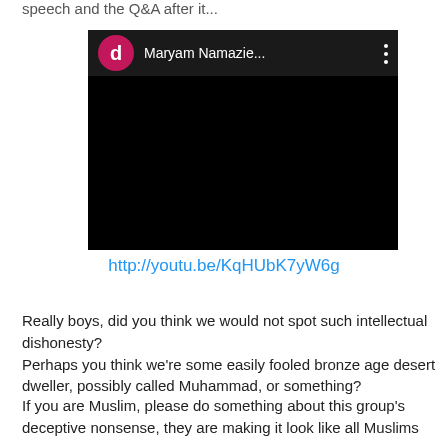speech and the Q&A after it...
[Figure (screenshot): Embedded video thumbnail showing a dark/black video frame with a channel header displaying a pink avatar with letter 'd' and channel name 'Maryam Namazie...' on a dark background, with a vertical three-dot menu icon.]
http://youtu.be/KqHUbK7yW6g
Really boys, did you think we would not spot such intellectual dishonesty?
Perhaps you think we're some easily fooled bronze age desert dweller, possibly called Muhammad, or something?
If you are Muslim, please do something about this group's deceptive nonsense, they are making it look like all Muslims